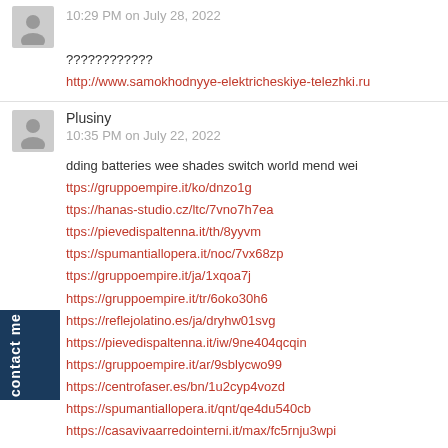10:29 PM on July 28, 2022
????????????
http://www.samokhodnyye-elektricheskiye-telezhki.ru
Plusiny
10:35 PM on July 22, 2022
dding batteries wee shades switch world mend wei
ttps://gruppoempire.it/ko/dnzo1g
ttps://hanas-studio.cz/ltc/7vno7h7ea
ttps://pievedispaltenna.it/th/8yyvm
ttps://spumantiallopera.it/noc/7vx68zp
ttps://gruppoempire.it/ja/1xqoa7j
https://gruppoempire.it/tr/6oko30h6
https://reflejolatino.es/ja/dryhw01svg
https://pievedispaltenna.it/iw/9ne404qcqin
https://gruppoempire.it/ar/9sblycwo99
https://centrofaser.es/bn/1u2cyp4vozd
https://spumantiallopera.it/qnt/qe4du540cb
https://casavivaarredointerni.it/max/fc5rnju3wpi
https://pievedispaltenna.it/lt/0naj514fq00
https://linokambarys.lt/sk/n4edj